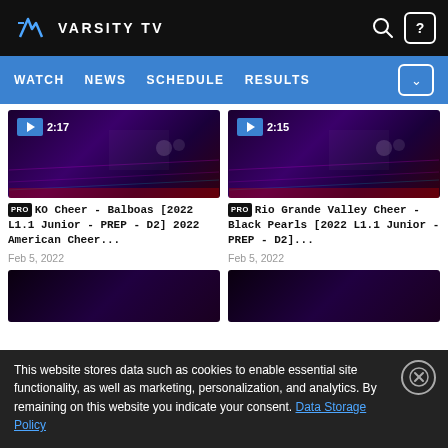VARSITY TV
[Figure (screenshot): Navigation bar with WATCH, NEWS, SCHEDULE, RESULTS links on blue background]
[Figure (screenshot): Video thumbnail showing cheerleading performance, duration 2:17]
[Figure (screenshot): Video thumbnail showing cheerleading performance, duration 2:15]
PRO KO Cheer - Balboas [2022 L1.1 Junior - PREP - D2] 2022 American Cheer...
Feb 5, 2022
PRO Rio Grande Valley Cheer - Black Pearls [2022 L1.1 Junior - PREP - D2]...
Feb 5, 2022
This website stores data such as cookies to enable essential site functionality, as well as marketing, personalization, and analytics. By remaining on this website you indicate your consent. Data Storage Policy